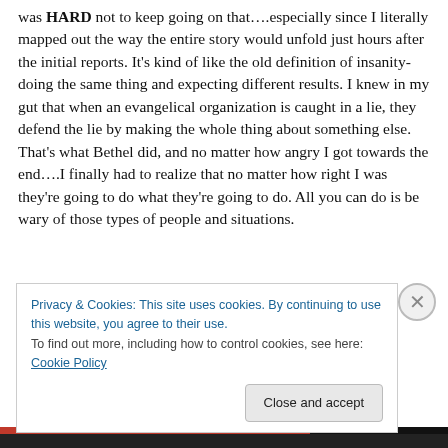was HARD not to keep going on that….especially since I literally mapped out the way the entire story would unfold just hours after the initial reports. It's kind of like the old definition of insanity- doing the same thing and expecting different results. I knew in my gut that when an evangelical organization is caught in a lie, they defend the lie by making the whole thing about something else. That's what Bethel did, and no matter how angry I got towards the end….I finally had to realize that no matter how right I was they're going to do what they're going to do. All you can do is be wary of those types of people and situations.
Privacy & Cookies: This site uses cookies. By continuing to use this website, you agree to their use.
To find out more, including how to control cookies, see here: Cookie Policy